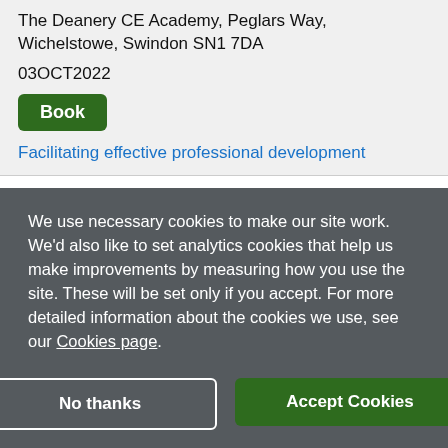The Deanery CE Academy, Peglars Way, Wichelstowe, Swindon SN1 7DA
03OCT2022
Book
Facilitating effective professional development
We use necessary cookies to make our site work. We'd also like to set analytics cookies that help us make improvements by measuring how you use the site. These will be set only if you accept. For more detailed information about the cookies we use, see our Cookies page.
No thanks
Accept Cookies